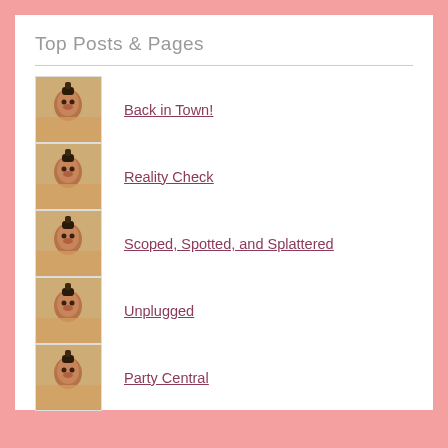Top Posts & Pages
Back in Town!
Reality Check
Scoped, Spotted, and Splattered
Unplugged
Party Central